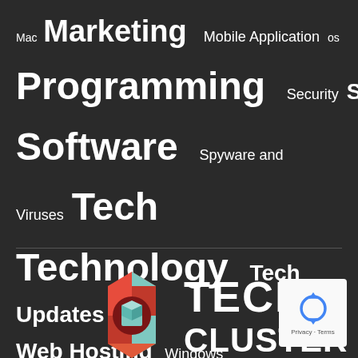[Figure (infographic): Tag cloud of technology-related topics on dark background: Mac, Marketing, Mobile Application, os, Programming, Security, SmartPhone, Software, Spyware and Viruses, Tech, Technology, Tech Updates, Web Hosting, Windows — displayed in varying font sizes]
[Figure (logo): Tech Cluster logo: geometric hexagonal cube icon in red/coral and teal colors next to TECH CLUSTER bold white text]
[Figure (other): reCAPTCHA widget box showing recycling-arrow logo and Privacy/Terms text]